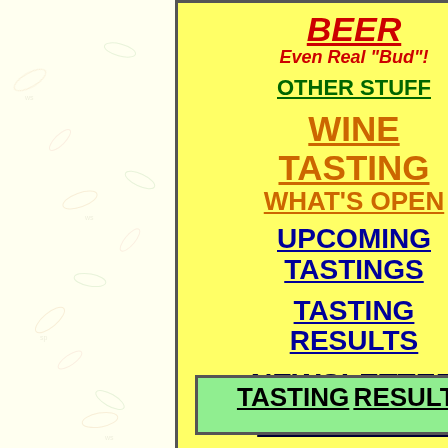BEER
Even Real "Bud"!
OTHER STUFF
WINE
TASTING
WHAT'S OPEN
UPCOMING TASTINGS
TASTING RESULTS
NEWSLETTER
SHIPPING INFO
ETC.
TASTING RESULTS